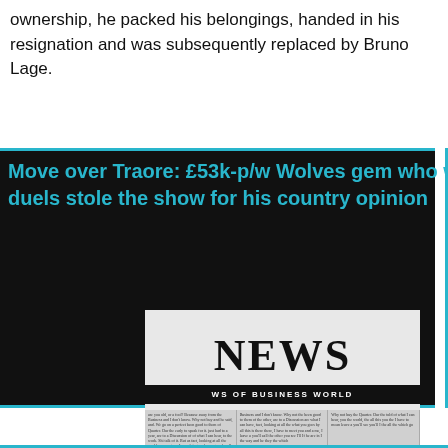ownership, he packed his belongings, handed in his resignation and was subsequently replaced by Bruno Lage.
Move over Traore: £53k-p/w Wolves gem who won 10 duels stole the show for his country opinion
[Figure (photo): A close-up photo of a newspaper with 'NEWS' in large text and subheader 'WS OF BUSINESS WORLD' with columns of newsprint text below.]